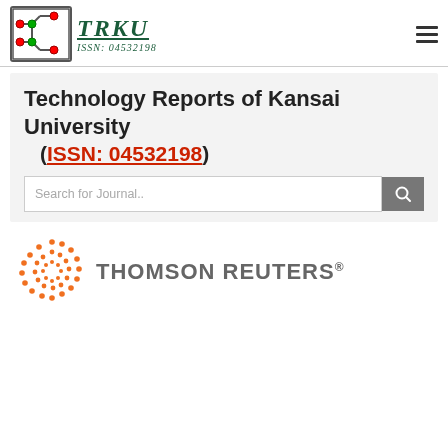[Figure (logo): TRKU journal logo with circuit board icon and text TRKU ISSN: 04532198 in gothic/blackletter style, green color]
Technology Reports of Kansai University
(ISSN: 04532198)
[Figure (logo): Thomson Reuters logo with orange dot pattern and grey THOMSON REUTERS text]